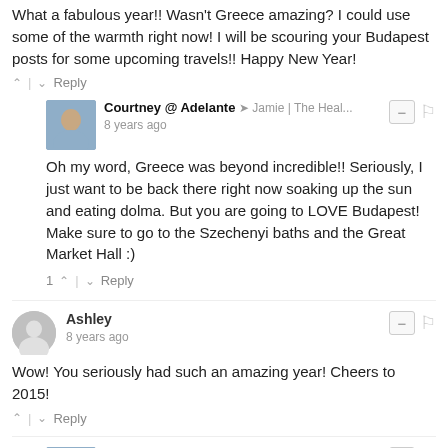What a fabulous year!! Wasn't Greece amazing? I could use some of the warmth right now! I will be scouring your Budapest posts for some upcoming travels!! Happy New Year!
^ | v Reply
Courtney @ Adelante → Jamie | The Heal... 8 years ago
Oh my word, Greece was beyond incredible!! Seriously, I just want to be back there right now soaking up the sun and eating dolma. But you are going to LOVE Budapest! Make sure to go to the Szechenyi baths and the Great Market Hall :)
1 ^ | v Reply
Ashley 8 years ago
Wow! You seriously had such an amazing year! Cheers to 2015!
^ | v Reply
Courtney @ Adelante → Ashley 8 years ago